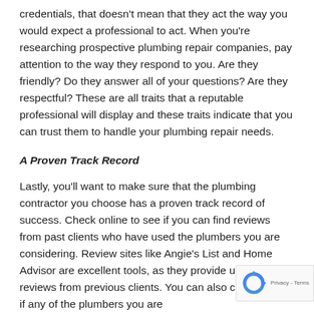credentials, that doesn't mean that they act the way you would expect a professional to act. When you're researching prospective plumbing repair companies, pay attention to the way they respond to you. Are they friendly? Do they answer all of your questions? Are they respectful? These are all traits that a reputable professional will display and these traits indicate that you can trust them to handle your plumbing repair needs.
A Proven Track Record
Lastly, you'll want to make sure that the plumbing contractor you choose has a proven track record of success. Check online to see if you can find reviews from past clients who have used the plumbers you are considering. Review sites like Angie's List and Home Advisor are excellent tools, as they provide unbiased reviews from previous clients. You can also check to see if any of the plumbers you are